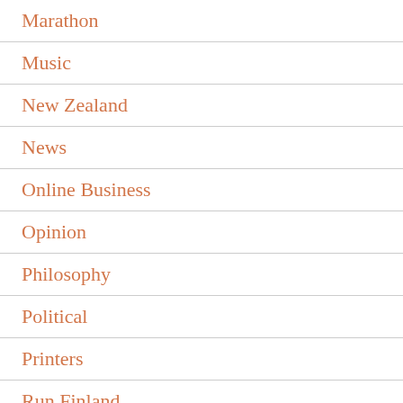Marathon
Music
New Zealand
News
Online Business
Opinion
Philosophy
Political
Printers
Run Finland
Run Reviews